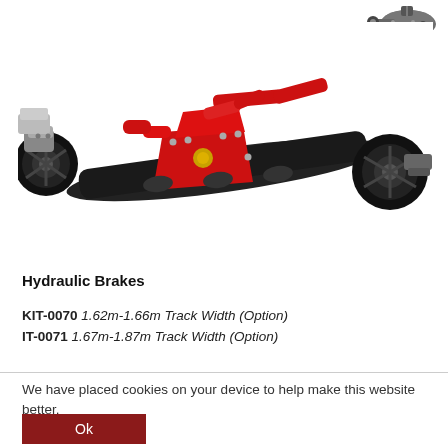[Figure (engineering-diagram): Small mechanical component (axle/hitch part) shown in upper right corner, rendered in dark gray tones.]
[Figure (engineering-diagram): 3D CAD rendering of a hydraulic brake axle assembly. The axle tube is black, with red hydraulic brake linkage components mounted centrally and wheel hubs on both ends. A gray mounting bracket is visible on the left hub.]
Hydraulic Brakes
KIT-0070  1.62m-1.66m Track Width (Option)
IT-0071  1.67m-1.87m Track Width (Option)
We have placed cookies on your device to help make this website better.
Ok